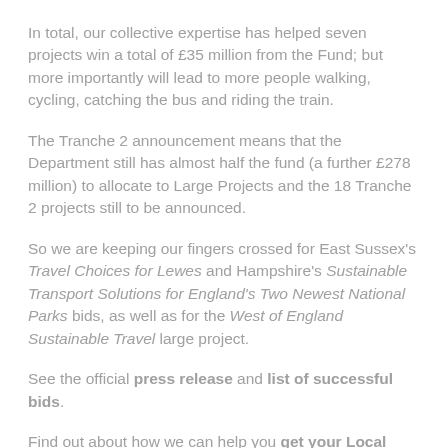In total, our collective expertise has helped seven projects win a total of £35 million from the Fund; but more importantly will lead to more people walking, cycling, catching the bus and riding the train.
The Tranche 2 announcement means that the Department still has almost half the fund (a further £278 million) to allocate to Large Projects and the 18 Tranche 2 projects still to be announced.
So we are keeping our fingers crossed for East Sussex's Travel Choices for Lewes and Hampshire's Sustainable Transport Solutions for England's Two Newest National Parks bids, as well as for the West of England Sustainable Travel large project.
See the official press release and list of successful bids.
Find out about how we can help you get your Local Sustainable Transport Fund programme up and running.